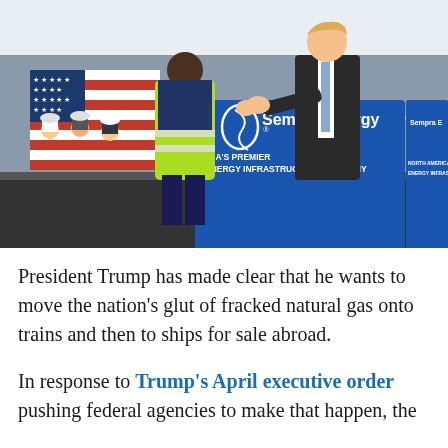[Figure (photo): President Trump shaking hands on stage with a person wearing a yellow high-visibility safety vest, in front of a Sempra Energy branded podium reading 'North America's Premier Energy Infrastructure Company'. Workers in hard hats visible in the background along with an American flag.]
President Trump has made clear that he wants to move the nation's glut of fracked natural gas onto trains and then to ships for sale abroad.
In response to Trump's April executive order pushing federal agencies to make that happen, the